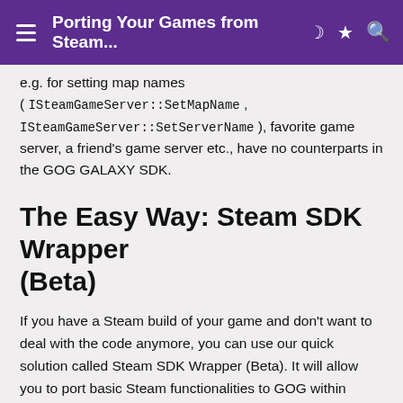Porting Your Games from Steam...
e.g. for setting map names ( ISteamGameServer::SetMapName , ISteamGameServer::SetServerName ), favorite game server, a friend's game server etc., have no counterparts in the GOG GALAXY SDK.
The Easy Way: Steam SDK Wrapper (Beta)
If you have a Steam build of your game and don't want to deal with the code anymore, you can use our quick solution called Steam SDK Wrapper (Beta). It will allow you to port basic Steam functionalities to GOG within minutes. More on this in the next article.